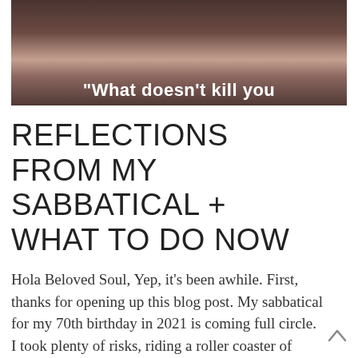[Figure (photo): Cropped photograph of a woman, dark vintage-style image with a quote overlay at the bottom reading: "What doesn't kill you]
REFLECTIONS FROM MY SABBATICAL + WHAT TO DO NOW
Hola Beloved Soul, Yep, it's been awhile. First, thanks for opening up this blog post. My sabbatical for my 70th birthday in 2021 is coming full circle. I took plenty of risks, riding a roller coaster of highs and lows. I took a delicious, daring chance and